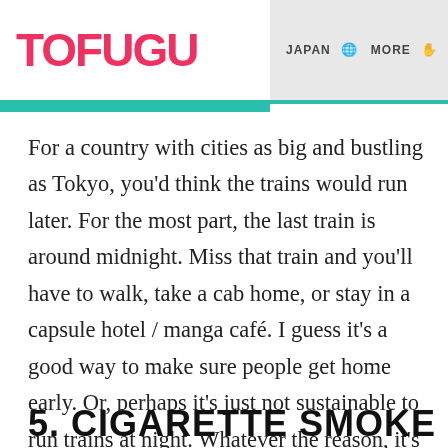TOFUGU | JAPAN | MORE | PODCA
For a country with cities as big and bustling as Tokyo, you'd think the trains would run later. For the most part, the last train is around midnight. Miss that train and you'll have to walk, take a cab home, or stay in a capsule hotel / manga café. I guess it's a good way to make sure people get home early. Or, perhaps it's just not sustainable to run trains at night. Whatever the reason, it's still pretty early if you ask me. Couldn't the last train just be an hour or two later, please?
5. CIGARETTE SMOKE